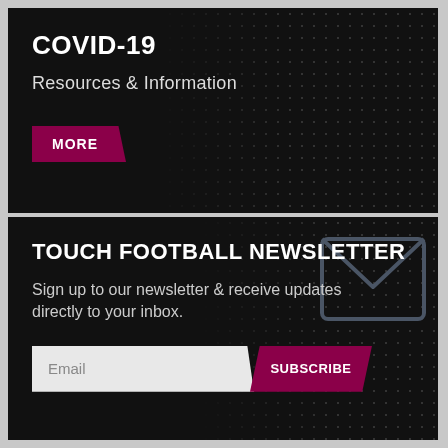COVID-19
Resources & Information
MORE
TOUCH FOOTBALL NEWSLETTER
Sign up to our newsletter & receive updates directly to your inbox.
[Figure (illustration): Envelope/mail icon outline in dark grey, used to represent newsletter signup]
Email
SUBSCRIBE